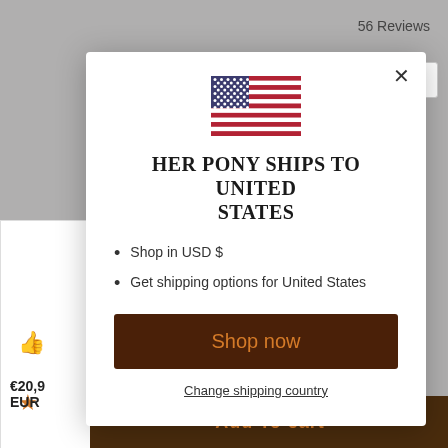56 Reviews
[Figure (screenshot): Background e-commerce page showing a product card with thumbs-up icon, star rating, price €20,9x EUR, Add to cart button, and a country dropdown showing a down arrow]
[Figure (illustration): US flag emoji / SVG illustration centered in the modal]
HER PONY SHIPS TO UNITED STATES
Shop in USD $
Get shipping options for United States
Shop now
Change shipping country